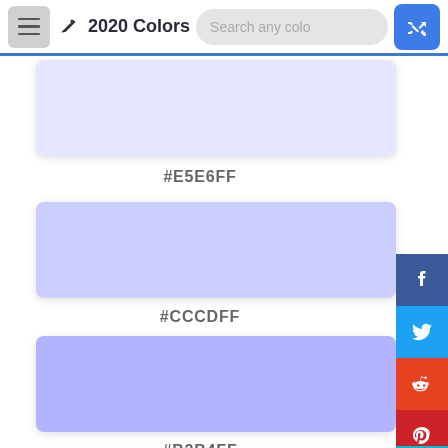2020 Colors
[Figure (other): Color swatch #E5E6FF - light lavender/periwinkle color block]
#E5E6FF
[Figure (other): Color swatch #CCCDFF - medium lavender color block]
#CCCDFF
[Figure (other): Color swatch #B2B4FF - deeper lavender/periwinkle color block]
#B2B4FF